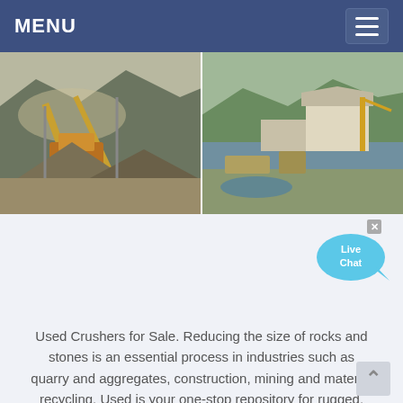MENU
[Figure (photo): Two photos of industrial rock crusher / quarry operations side by side. Left photo shows large conveyor belts and cone crusher machinery at an open-pit quarry. Right photo shows a similar quarry processing plant with buildings and heavy equipment.]
Used Rock Crushers For Sale
[Figure (other): Live Chat speech bubble button in light blue with text 'Live Chat']
consult
Used Crushers for Sale. Reducing the size of rocks and stones is an essential process in industries such as quarry and aggregates, construction, mining and material recycling. Used is your one-stop repository for rugged, dependable used rock crushers for sale that will increase productivity an...